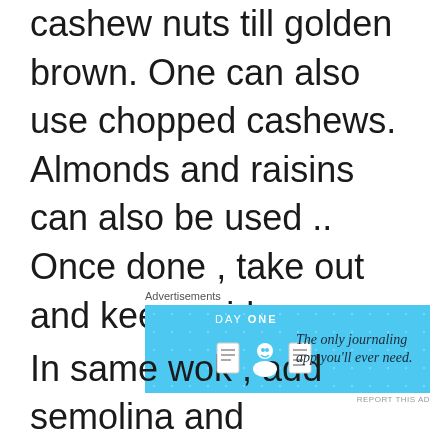cashew nuts till golden brown. One can also use chopped cashews. Almonds and raisins can also be used .. Once done , take out and keep aside.
[Figure (other): Advertisement banner for Day One journaling app with blue background, icons of a journal, person, and document, and tagline 'The only journaling app you'll ever need.']
In same wok , add semolina and